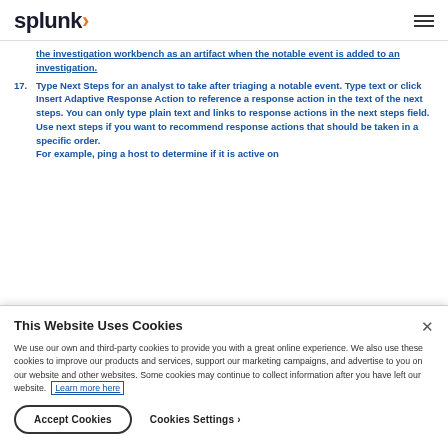splunk>  ☰
the investigation workbench as an artifact when the notable event is added to an investigation.
17. Type Next Steps for an analyst to take after triaging a notable event. Type text or click Insert Adaptive Response Action to reference a response action in the text of the next steps. You can only type plain text and links to response actions in the next steps field. Use next steps if you want to recommend response actions that should be taken in a specific order. For example, ping a host to determine if it is active on
This Website Uses Cookies
We use our own and third-party cookies to provide you with a great online experience. We also use these cookies to improve our products and services, support our marketing campaigns, and advertise to you on our website and other websites. Some cookies may continue to collect information after you have left our website. Learn more here
Accept Cookies
Cookies Settings ›